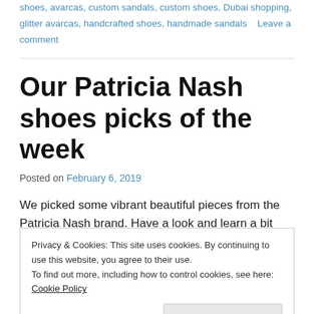shoes, avarcas, custom sandals, custom shoes, Dubai shopping, glitter avarcas, handcrafted shoes, handmade sandals   Leave a comment
Our Patricia Nash shoes picks of the week
Posted on February 6, 2019
We picked some vibrant beautiful pieces from the Patricia Nash brand. Have a look and learn a bit about this brand.
Privacy & Cookies: This site uses cookies. By continuing to use this website, you agree to their use.
To find out more, including how to control cookies, see here: Cookie Policy
Close and accept
Each Patricia Nash product is a unique work of art, crafted and